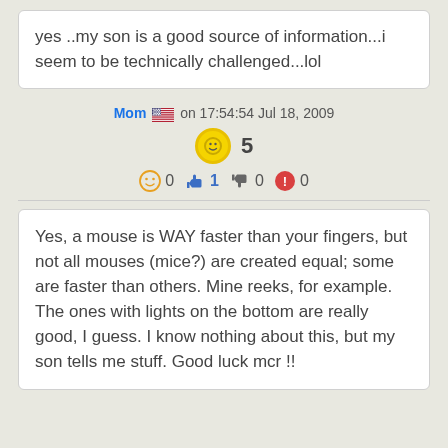yes ..my son is a good source of information...i seem to be technically challenged...lol
Mom  on 17:54:54 Jul 18, 2009
5
0   1   0   0
Yes, a mouse is WAY faster than your fingers, but not all mouses (mice?) are created equal; some are faster than others. Mine reeks, for example. The ones with lights on the bottom are really good, I guess. I know nothing about this, but my son tells me stuff. Good luck mcr !!